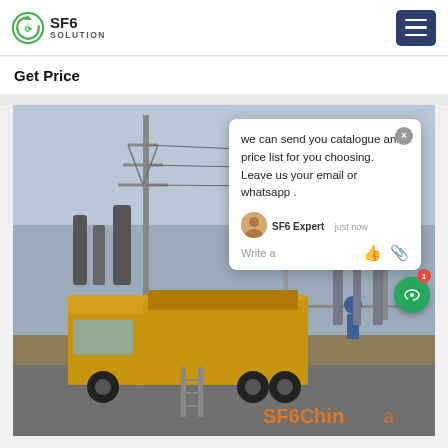[Figure (logo): SF6 Solution logo with circular green recycling arrow icon]
Get Price
[Figure (photo): Yellow service truck parked at electrical substation with power transmission towers in background. Worker visible near truck. SF6China watermark in orange at bottom right.]
we can send you catalogue and price list for you choosing. Leave us your email or whatsapp .
SF6 Expert   just now
Write a